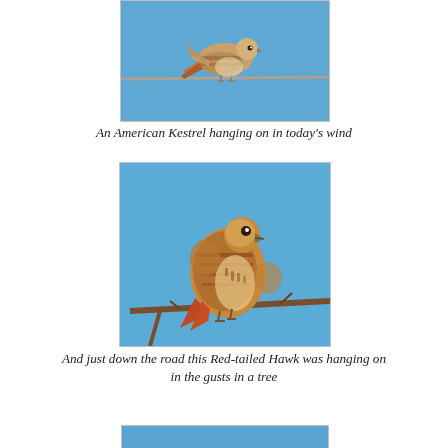[Figure (photo): An American Kestrel bird perched on a wire, photographed against a blue sky. The bird has brown and cream plumage with striped markings.]
An American Kestrel hanging on in today's wind
[Figure (photo): A Red-tailed Hawk perched on a bare branch against a blue sky. The hawk has brown and cream plumage with streaked breast markings.]
And just down the road this Red-tailed Hawk was hanging on in the gusts in a tree
[Figure (photo): Partial view of a third bird photograph at the bottom of the page, showing only a blue sky background.]